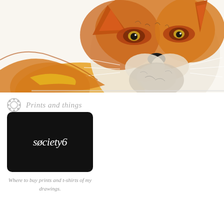[Figure (illustration): Watercolor and ink illustration of a red fox face, close-up view showing orange fur with black markings around eyes, grey-white muzzle, prominent whiskers, dark nose, and warm yellowish tones on the lower body/tail. The fox is looking slightly upward. White background.]
Prints and things
[Figure (logo): Society6 logo: white italic script text reading 'society6' on a black rounded rectangle card]
Where to buy prints and t-shirts of my drawings.